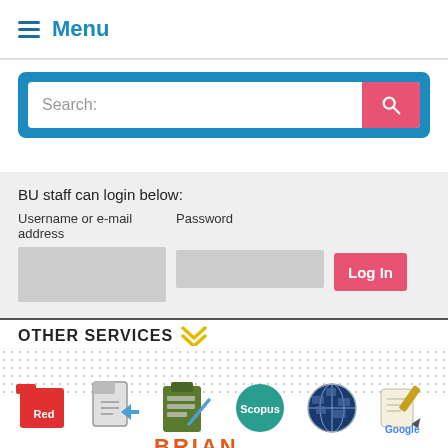Menu
Search:
BU staff can login below:
Username or e-mail address
Password
Log In
OTHER SERVICES
[Figure (illustration): Row of service icons: Red (red folder icon), document upload icon, checklist/task icon, Scopus logo (teal circle), globe/web icon (dark blue mosaic), Google Scholar icon (scroll with pencil)]